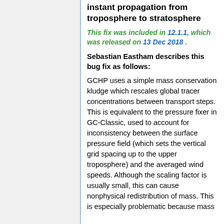instant propagation from troposphere to stratosphere
This fix was included in 12.1.1, which was released on 13 Dec 2018 .
Sebastian Eastham describes this bug fix as follows:
GCHP uses a simple mass conservation kludge which rescales global tracer concentrations between transport steps. This is equivalent to the pressure fixer in GC-Classic, used to account for inconsistency between the surface pressure field (which sets the vertical grid spacing up to the upper troposphere) and the averaged wind speeds. Although the scaling factor is usually small, this can cause nonphysical redistribution of mass. This is especially problematic because mass